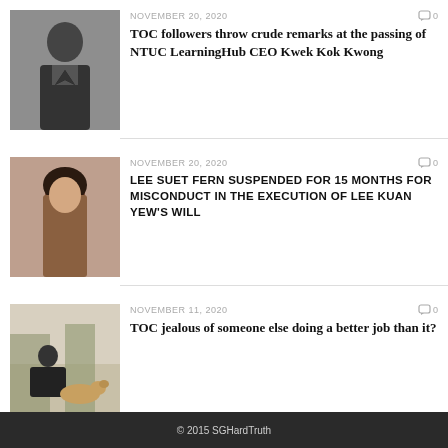NOVEMBER 20, 2020
[Figure (photo): Black and white photo of a man in a suit holding a drink]
TOC followers throw crude remarks at the passing of NTUC LearningHub CEO Kwek Kok Kwong
NOVEMBER 20, 2020
[Figure (photo): Photo of a woman with dark hair]
LEE SUET FERN SUSPENDED FOR 15 MONTHS FOR MISCONDUCT IN THE EXECUTION OF LEE KUAN YEW'S WILL
NOVEMBER 11, 2020
[Figure (photo): Photo of a person crouching near a dog with plants in background]
TOC jealous of someone else doing a better job than it?
© 2015 SGHardTruth